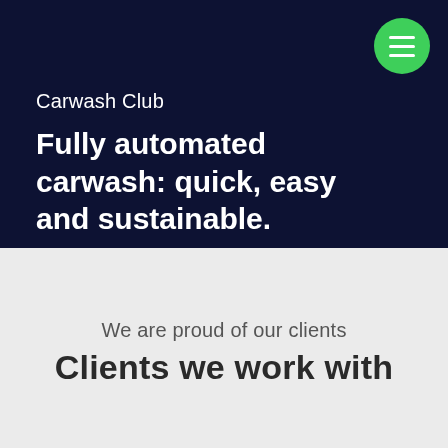Carwash Club
Fully automated carwash: quick, easy and sustainable.
We are proud of our clients
Clients we work with